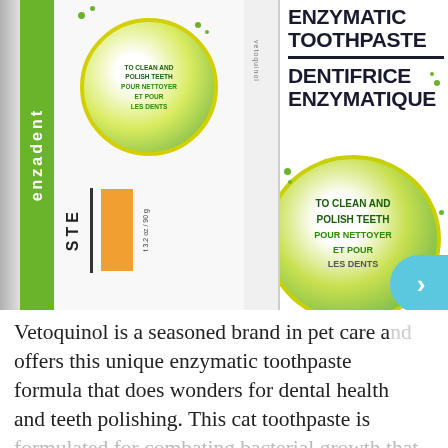[Figure (photo): Two Vetoquinol Enzadent enzymatic toothpaste products shown side by side. Left: a tube lying on its side showing the green stripe, circular logo with 'TO CLEAN AND POLISH TEETH / POUR NETTOYER ET POUR LES DENTS', orange color block, and weight '3.2 oz / 90g'. Right: an upright tube showing 'ENZYMATIC TOOTHPASTE / DENTIFRICE ENZYMATIQUE' text with a horizontal dividing line, and a large circular logo with 'TO CLEAN AND POLISH TEETH / POUR NETTOYER ET POUR / LES DENTS' in dark and green text.]
Vetoquinol is a seasoned brand in pet care and offers this unique enzymatic toothpaste formula that does wonders for dental health and teeth polishing. This cat toothpaste is formulated for combating bacterial growth that can cause bad breath and teeth loss. With